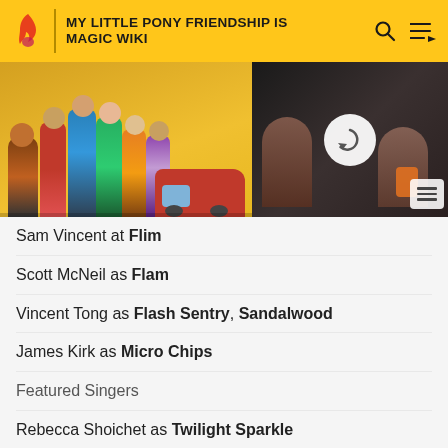MY LITTLE PONY FRIENDSHIP IS MAGIC WIKI
[Figure (screenshot): Banner advertisement showing group of people standing near a car on a yellow background, and a car interior scene on the right side with a loading/refresh icon overlay.]
Sam Vincent at Flim
Scott McNeil as Flam
Vincent Tong as Flash Sentry, Sandalwood
James Kirk as Micro Chips
Featured Singers
Rebecca Shoichet as Twilight Sparkle
Shannon Chan-Kent as Pinkie Pie
Kazumi Evans as Rarity
My Little Pony Equestria Girls: Friendship Games